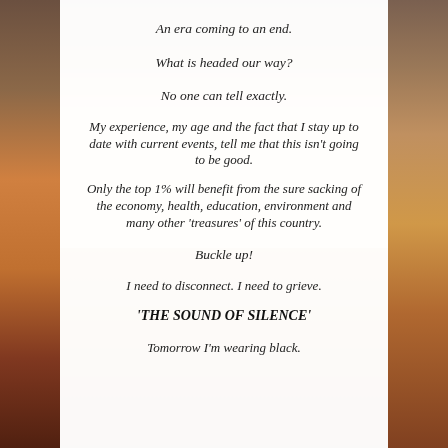An era coming to an end.
What is headed our way?
No one can tell exactly.
My experience, my age and the fact that I stay up to date with current events, tell me that this isn't going to be good.
Only the top 1% will benefit from the sure sacking of the economy, health, education, environment and many other 'treasures' of this country.
Buckle up!
I need to disconnect. I need to grieve.
'THE SOUND OF SILENCE'
Tomorrow I'm wearing black.